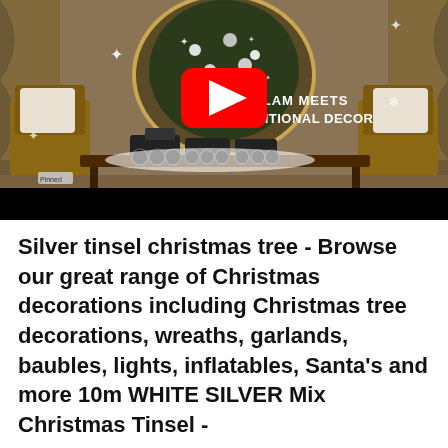[Figure (screenshot): YouTube video thumbnail showing a Christmas decorated room with a silver tinsel tree, ornaments, and a toy train on a table. Text overlay reads 'GLAM MEETS TRADITIONAL DECOR'. A red YouTube play button is centered on the image.]
Silver tinsel christmas tree - Browse our great range of Christmas decorations including Christmas tree decorations, wreaths, garlands, baubles, lights, inflatables, Santa's and more 10m WHITE SILVER Mix Christmas Tinsel -